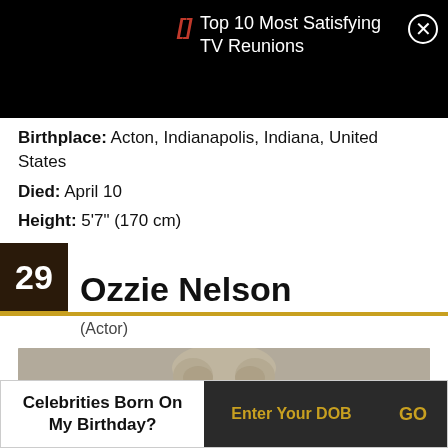Top 10 Most Satisfying TV Reunions
Birthplace: Acton, Indianapolis, Indiana, United States
Died: April 10
Height: 5'7" (170 cm)
29 Ozzie Nelson
(Actor)
[Figure (photo): Black and white photo of Ozzie Nelson]
Celebrities Born On My Birthday? Enter Your DOB GO